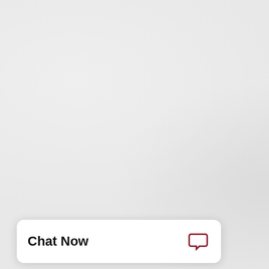we've already w... chicken soup wi... soup, you really...
[Figure (photo): Wooden table surface with social media share buttons (Facebook, Twitter, Pinterest, Email, Tumblr, Digg, StumbleUpon, Minus) overlaid on right side]
[Figure (screenshot): Chat Now widget with speech bubble icon at bottom left of page]